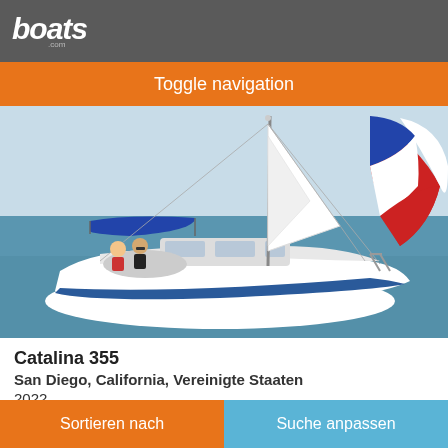boats.com
Toggle navigation
[Figure (photo): A white Catalina 355 sailboat on the water with two people seated in the cockpit, blue bimini top, mast with sails, colorful spinnaker on the right, blue-green ocean water in background.]
Catalina 355
San Diego, California, Vereinigte Staaten
2022
Sortieren nach   Suche anpassen